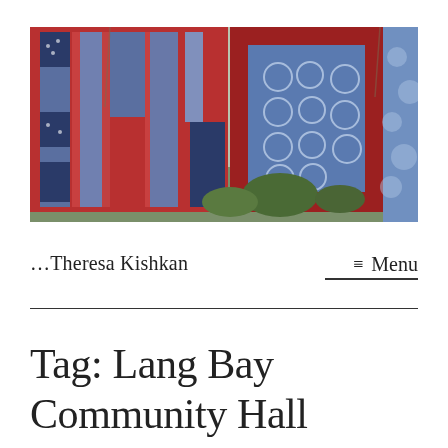[Figure (photo): Photograph of three textile/quilt pieces hanging outdoors against a garden background. Left piece is a patchwork quilt with red and blue strips and dotted patterns. Middle piece is a blue fabric with circular resist-dye (shibori) patterns in a red border frame. Right piece is a blue fabric with scattered circular shibori patterns.]
...Theresa Kishkan
≡ Menu
Tag: Lang Bay Community Hall